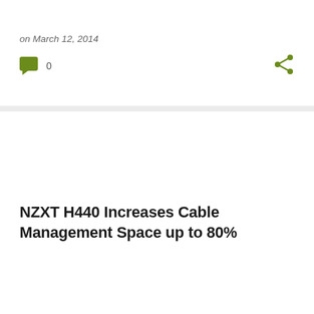on March 12, 2014
0
NZXT H440 Increases Cable Management Space up to 80%
on March 11, 2014